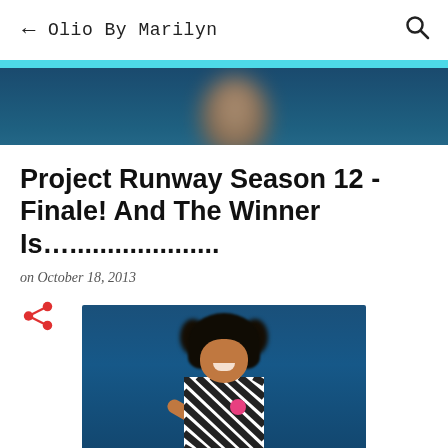← Olio By Marilyn 🔍
[Figure (photo): Blurred background photo of a person against a dark blue background]
Project Runway Season 12 - Finale! And The Winner Is….................
on October 18, 2013
[Figure (illustration): Share icon (red)]
[Figure (photo): A smiling woman with curly hair wearing a black and white patterned top with a pink badge, against a blue background]